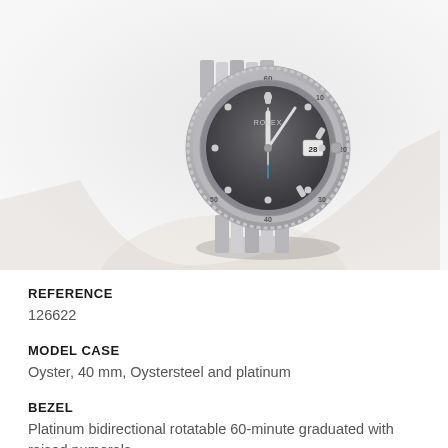[Figure (photo): Rolex Yacht-Master watch with dark rhodium dial, platinum bidirectional bezel with raised numerals, Oystersteel and platinum bracelet, shown on a wrist at an angle against a light grey/white background.]
REFERENCE
126622
MODEL CASE
Oyster, 40 mm, Oystersteel and platinum
BEZEL
Platinum bidirectional rotatable 60-minute graduated with raised numerals